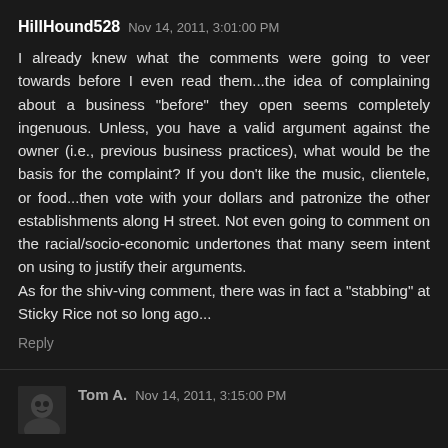HillHound528  Nov 14, 2011, 3:01:00 PM
I already knew what the comments were going to veer towards before I even read them...the idea of complaining about a business "before" they open seems completely ingenuous. Unless, you have a valid argument against the owner (i.e., previous business practices), what would be the basis for the complaint? If you don't like the music, clientele, or food...then vote with your dollars and patronize the other establishments along H street. Not even going to comment on the racial/socio-economic undertones that many seem intent on using to justify their arguments.
As for the shiv-ving comment, there was in fact a "stabbing" at Sticky Rice not so long ago...
Reply
Tom A.  Nov 14, 2011, 3:15:00 PM
They seem to be targetting the exact same clientele as "X2." have there been a lot of problems there? If not, let's wait and see what happens. I'm so not a fan one racially divided...